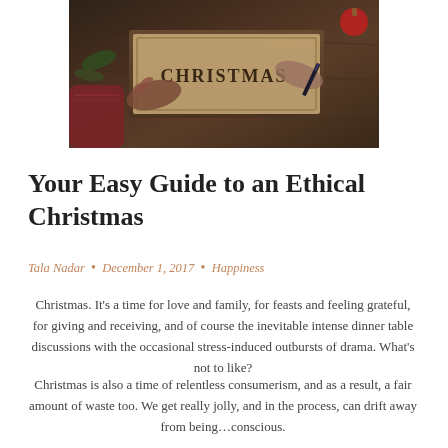[Figure (photo): Overhead/top-down photo of hands writing 'CHRISTMAS' on a wooden sign or piece of paper, placed on a dark wooden table with holiday decorations (ornament visible). One hand holds a pen/marker.]
Your Easy Guide to an Ethical Christmas
Tala Nadar  •  December 1, 2017  •  Happiness
Christmas. It's a time for love and family, for feasts and feeling grateful, for giving and receiving, and of course the inevitable intense dinner table discussions with the occasional stress-induced outbursts of drama. What's not to like?
Christmas is also a time of relentless consumerism, and as a result, a fair amount of waste too. We get really jolly, and in the process, can drift away from being…conscious.